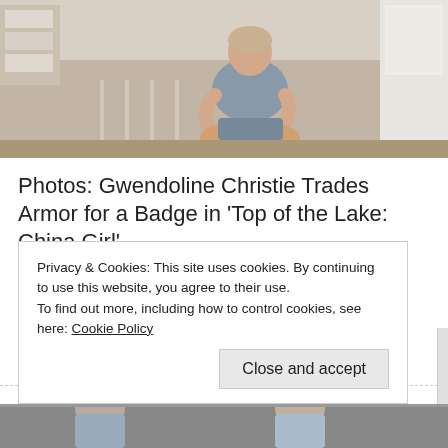[Figure (photo): Top portion of a webpage screenshot showing a person sitting cross-legged in what appears to be a room with white furniture/crib]
Photos: Gwendoline Christie Trades Armor for a Badge in 'Top of the Lake: China Girl'
Photo Gallery  TV Feature Photos  By Judy Sloane | August 30, 2017 | 0
Click on photo for hi-res version then right click to save Photos for editorial use only  [...]
Privacy & Cookies: This site uses cookies. By continuing to use this website, you agree to their use.
To find out more, including how to control cookies, see here: Cookie Policy
Close and accept
[Figure (photo): Bottom strip of another photo partially visible at bottom of page]